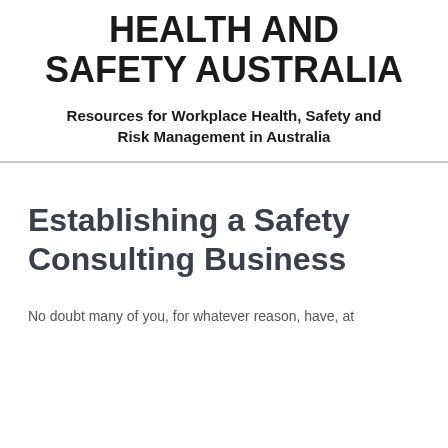HEALTH AND SAFETY AUSTRALIA
Resources for Workplace Health, Safety and Risk Management in Australia
Establishing a Safety Consulting Business
No doubt many of you, for whatever reason, have, at